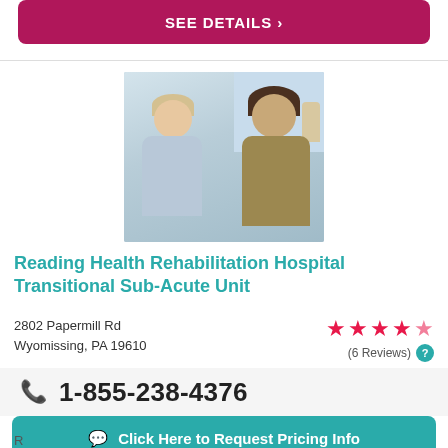SEE DETAILS >
[Figure (photo): Two people sitting together, one appearing to be a caregiver and the other a patient, in a room with a window and lamp in the background.]
Reading Health Rehabilitation Hospital Transitional Sub-Acute Unit
2802 Papermill Rd
Wyomissing, PA 19610
(6 Reviews)
1-855-238-4376
Click Here to Request Pricing Info
R